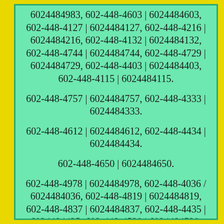6024484983, 602-448-4603 | 6024484603, 602-448-4127 | 6024484127, 602-448-4216 | 6024484216, 602-448-4132 | 6024484132, 602-448-4744 | 6024484744, 602-448-4729 | 6024484729, 602-448-4403 | 6024484403, 602-448-4115 | 6024484115.
602-448-4757 | 6024484757, 602-448-4333 | 6024484333.
602-448-4612 | 6024484612, 602-448-4434 | 6024484434.
602-448-4650 | 6024484650.
602-448-4978 | 6024484978, 602-448-4036 / 6024484036, 602-448-4819 | 6024484819, 602-448-4837 | 6024484837, 602-448-4435 | 6024484435, 602-448-4520 | 6024484520, 602-448-4591 | 6024484591, 602-448-4101 | 6024484101, 602-448-4245 | 6024484245, 602-448-4880 | 6024484880, 602-448-4305 | 6024484305, 602-448-4201 | 6024484201, 602-448-4583 | 6024484583, 602-448-4890 | 6024484890, 602-448-4217 | 6024484217, 602-448-4657 | 6024484657.